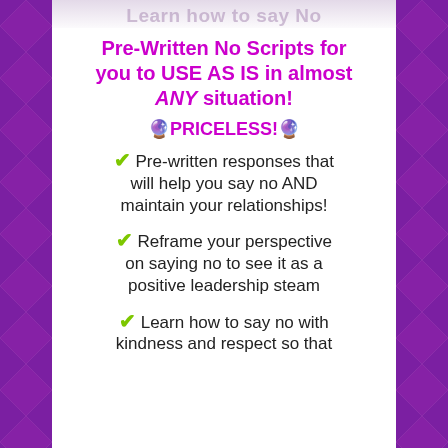Pre-Written No Scripts for you to USE AS IS in almost ANY situation!
🔮PRICELESS!🔮
Pre-written responses that will help you say no AND maintain your relationships!
Reframe your perspective on saying no to see it as a positive leadership steam
Learn how to say no with kindness and respect so that